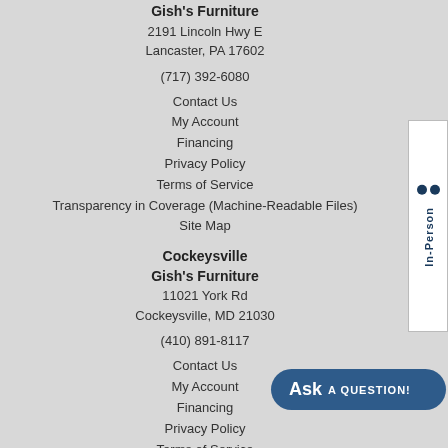Gish's Furniture
2191 Lincoln Hwy E
Lancaster, PA 17602
(717) 392-6080
Contact Us
My Account
Financing
Privacy Policy
Terms of Service
Transparency in Coverage (Machine-Readable Files)
Site Map
Cockeysville
Gish's Furniture
11021 York Rd
Cockeysville, MD 21030
(410) 891-8117
Contact Us
My Account
Financing
Privacy Policy
Terms of Service
Transparency in Coverage (Machine-Readable Files)
[Figure (other): In-Person button widget on right side]
[Figure (other): Ask A Question blue rounded button]